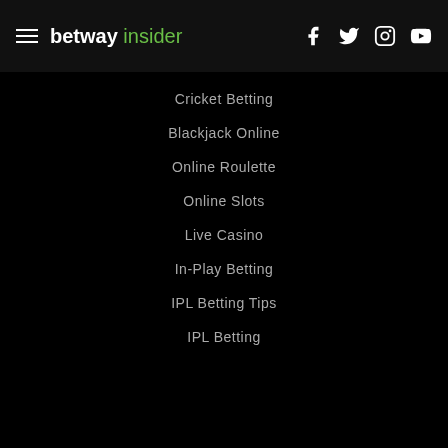betway insider
Cricket Betting
Blackjack Online
Online Roulette
Online Slots
Live Casino
In-Play Betting
IPL Betting Tips
IPL Betting